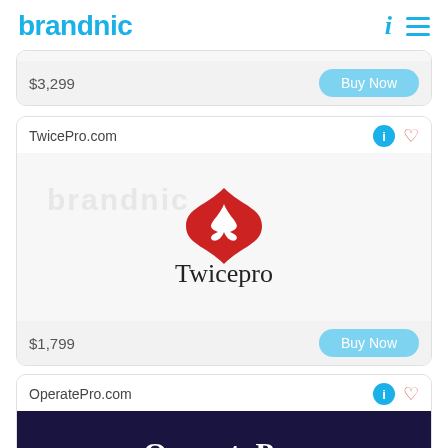brandnic
$3,299 Buy Now
TwicePro.com
[Figure (logo): Twicepro brand logo with red star/cross emblem and serif text 'Twicepro']
$1,799 Buy Now
OperatePro.com
[Figure (logo): OperatePro logo on dark navy background with white text 'OperatePro']